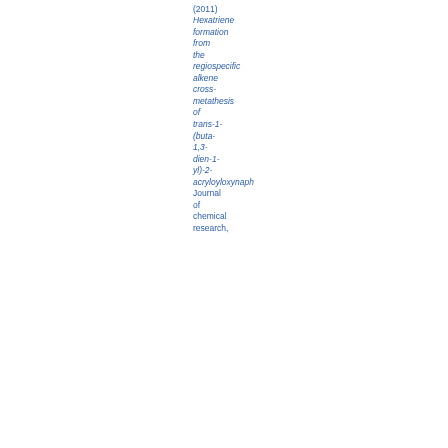B. (2011) Hexatriene formation from the regiospecific alkene cross-metathesis of trans-1-(buta-1,3-dien-1-yl)-2-acryloyloxynaph Journal of chemical research,